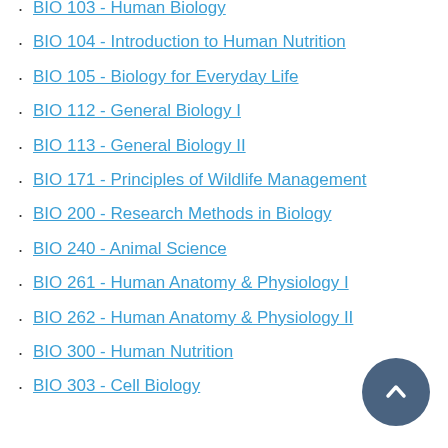BIO 103 - Human Biology
BIO 104 - Introduction to Human Nutrition
BIO 105 - Biology for Everyday Life
BIO 112 - General Biology I
BIO 113 - General Biology II
BIO 171 - Principles of Wildlife Management
BIO 200 - Research Methods in Biology
BIO 240 - Animal Science
BIO 261 - Human Anatomy & Physiology I
BIO 262 - Human Anatomy & Physiology II
BIO 300 - Human Nutrition
BIO 303 - Cell Biology